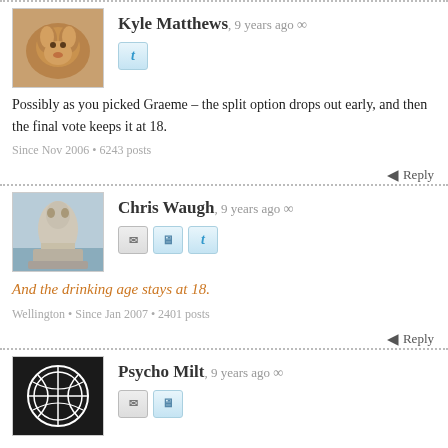Kyle Matthews, 9 years ago ∞
Possibly as you picked Graeme – the split option drops out early, and then the final vote keeps it at 18.
Since Nov 2006 • 6243 posts
Reply
Chris Waugh, 9 years ago ∞
And the drinking age stays at 18.
Wellington • Since Jan 2007 • 2401 posts
Reply
Psycho Milt, 9 years ago ∞